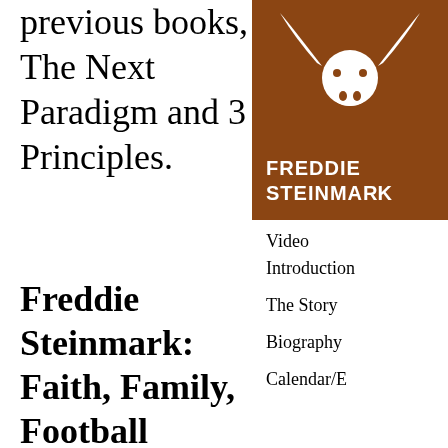previous books, The Next Paradigm and 3 Principles.
[Figure (logo): University of Texas Longhorns logo — burnt orange square with white longhorn silhouette and text FREDDIE STEINMA[RK] in white capital letters]
Video Introduction
The Sto[ry]
Biograp[hy]
Calendar/[Events]
Freddie Steinmark: Faith, Family, Football